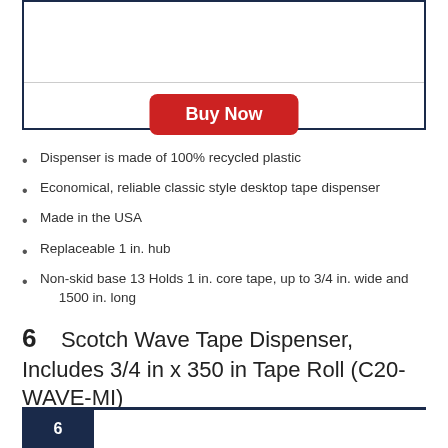[Figure (screenshot): White box with a horizontal divider line and a red 'Buy Now' button centered below the divider]
Dispenser is made of 100% recycled plastic
Economical, reliable classic style desktop tape dispenser
Made in the USA
Replaceable 1 in. hub
Non-skid base 13 Holds 1 in. core tape, up to 3/4 in. wide and 1500 in. long
6   Scotch Wave Tape Dispenser, Includes 3/4 in x 350 in Tape Roll (C20-WAVE-MI)
6